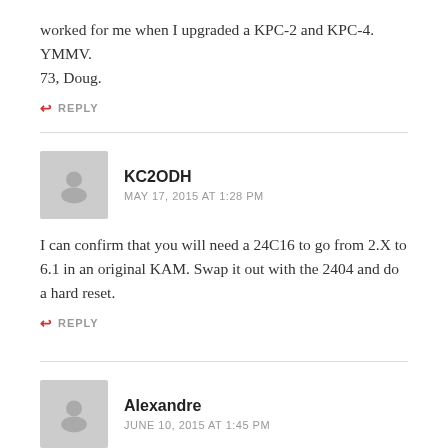worked for me when I upgraded a KPC-2 and KPC-4. YMMV. 73, Doug.
↩ REPLY
KC2ODH
MAY 17, 2015 AT 1:28 PM
I can confirm that you will need a 24C16 to go from 2.X to 6.1 in an original KAM. Swap it out with the 2404 and do a hard reset.
↩ REPLY
Alexandre
JUNE 10, 2015 AT 1:45 PM
tenho uma kantronics kpc-3 6.0 alguem pode me dizer como